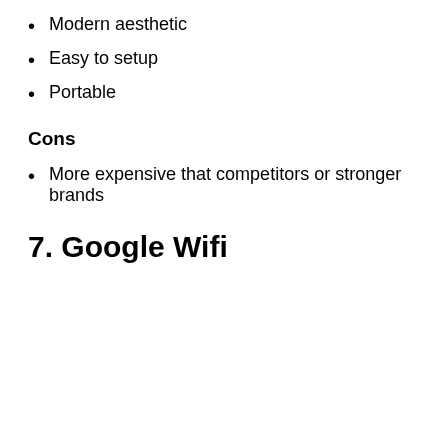Modern aesthetic
Easy to setup
Portable
Cons
More expensive that competitors or stronger brands
7. Google Wifi